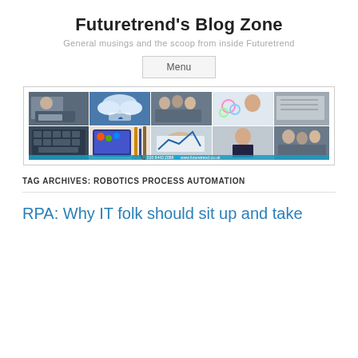Futuretrend's Blog Zone
General musings and the scoop from inside Futuretrend
Menu
[Figure (photo): A collage banner image showing multiple photos related to IT/business: people working, cloud computing diagrams, office meetings, keyboard, digital tablet, pencils, charts, with contact info 020 8443 2888 and www.futuretrend.co.uk]
TAG ARCHIVES: ROBOTICS PROCESS AUTOMATION
RPA: Why IT folk should sit up and take